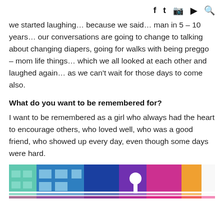f  t  [instagram]  [youtube]  [search]
we started laughing… because we said… man in 5 – 10 years… our conversations are going to change to talking about changing diapers, going for walks with being preggo – mom life things… which we all looked at each other and laughed again… as we can't wait for those days to come also.
What do you want to be remembered for?
I want to be remembered as a girl who always had the heart to encourage others, who loved well, who was a good friend, who showed up every day, even though some days were hard.
[Figure (photo): A colorful building exterior with teal, blue, purple, and pink sections, with a white spherical light fixture and white railings visible.]